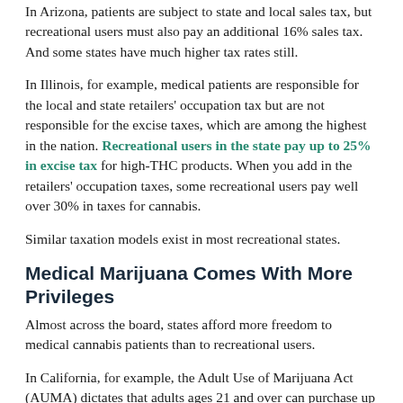In Arizona, patients are subject to state and local sales tax, but recreational users must also pay an additional 16% sales tax. And some states have much higher tax rates still.
In Illinois, for example, medical patients are responsible for the local and state retailers' occupation tax but are not responsible for the excise taxes, which are among the highest in the nation. Recreational users in the state pay up to 25% in excise tax for high-THC products. When you add in the retailers' occupation taxes, some recreational users pay well over 30% in taxes for cannabis.
Similar taxation models exist in most recreational states.
Medical Marijuana Comes With More Privileges
Almost across the board, states afford more freedom to medical cannabis patients than to recreational users.
In California, for example, the Adult Use of Marijuana Act (AUMA) dictates that adults ages 21 and over can purchase up